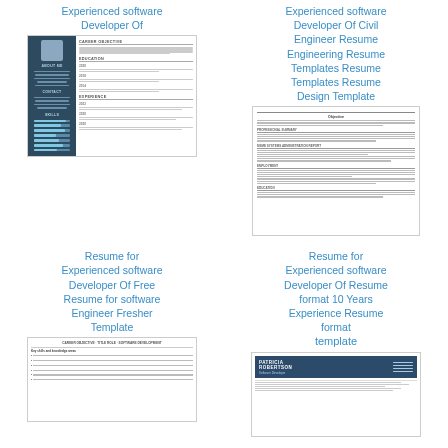Experienced software Developer Of
Experienced software Developer Of Civil Engineer Resume Engineering Resume Templates Resume Templates Resume Design Template
[Figure (illustration): Resume thumbnail showing a dark sidebar with avatar photo, About Me section, Contact section, Skills section with progress bars, and main content area with Career Objective, Education (2020, 2018, 2014), and Experience (2022, 2020, 2020) sections]
[Figure (illustration): Resume thumbnail showing a professional civil engineer resume with Objective section, Professional Summary, MSME Systems Administration support, and Employment sections with bullet points]
Resume for Experienced software Developer Of Free Resume for software Engineer Fresher Template
Resume for Experienced software Developer Of Resume format 10 Years Experience Resume format
[Figure (illustration): Bottom-left resume thumbnail showing a plain resume with key skills and knowledge listed as bullet points]
[Figure (illustration): Bottom-right resume thumbnail showing a resume with dark blue header bar, PATRICIA ROBERTSON name, and contact information]